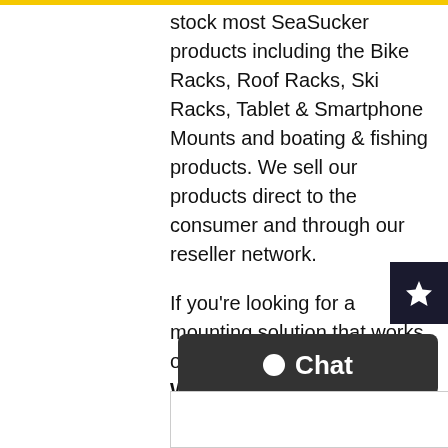stock most SeaSucker products including the Bike Racks, Roof Racks, Ski Racks, Tablet & Smartphone Mounts and boating & fishing products. We sell our products direct to the consumer and through our reseller network.
If you're looking for a mounting solution that works on a variety of surfaces WITHOUT DRILLING HOLES then SeaSucker has the answer. In addition to Distribution we also provide consulting and project management services using Industrial Vacuum Mounts as a mounting solution in the Automotive, Marine and Construction Industries. We back up each product & solution with a high standard of customer service and technical expertise.